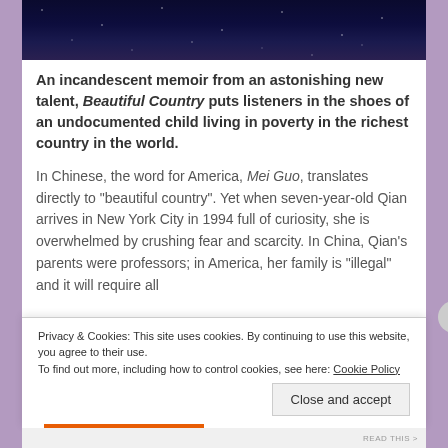[Figure (photo): Night sky with stars, dark blue/purple gradient background]
An incandescent memoir from an astonishing new talent, Beautiful Country puts listeners in the shoes of an undocumented child living in poverty in the richest country in the world.
In Chinese, the word for America, Mei Guo, translates directly to "beautiful country". Yet when seven-year-old Qian arrives in New York City in 1994 full of curiosity, she is overwhelmed by crushing fear and scarcity. In China, Qian's parents were professors; in America, her family is "illegal" and it will require all
Privacy & Cookies: This site uses cookies. By continuing to use this website, you agree to their use.
To find out more, including how to control cookies, see here: Cookie Policy
Close and accept